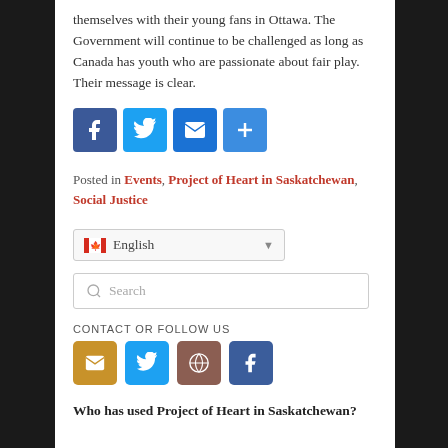themselves with their young fans in Ottawa. The Government will continue to be challenged as long as Canada has youth who are passionate about fair play. Their message is clear.
[Figure (infographic): Social share buttons: Facebook (blue), Twitter (light blue), Email (blue), Share/Plus (blue)]
Posted in Events, Project of Heart in Saskatchewan, Social Justice
[Figure (screenshot): Language selector dropdown showing English with Canadian flag icon]
[Figure (screenshot): Search input box with magnifying glass icon and placeholder text 'Search']
CONTACT OR FOLLOW US
[Figure (infographic): Contact/follow icons: Email (gold/orange), Twitter (blue), WordPress (brown/red), Facebook (dark blue)]
Who has used Project of Heart in Saskatchewan?